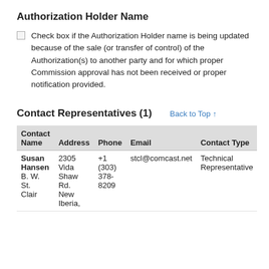Authorization Holder Name
Check box if the Authorization Holder name is being updated because of the sale (or transfer of control) of the Authorization(s) to another party and for which proper Commission approval has not been received or proper notification provided.
Contact Representatives (1)
Back to Top ↑
| Contact Name | Address | Phone | Email | Contact Type |
| --- | --- | --- | --- | --- |
| Susan Hansen B. W. St. Clair | 2305 Vida Shaw Rd. New Iberia, | +1 (303) 378-8209 | stcl@comcast.net | Technical Representative |